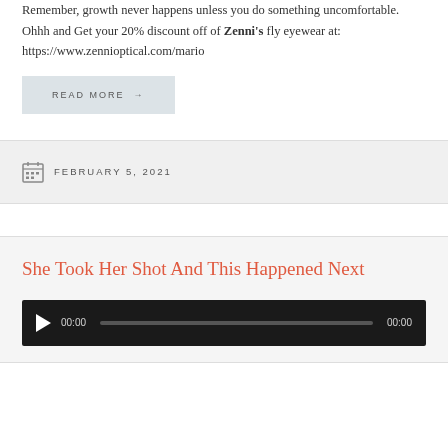Remember, growth never happens unless you do something uncomfortable. Ohhh and Get your 20% discount off of Zenni's fly eyewear at: https://www.zennioptical.com/mario
READ MORE →
FEBRUARY 5, 2021
She Took Her Shot And This Happened Next
[Figure (other): Audio player with play button, time display 00:00, progress bar, and end time 00:00 on dark background]